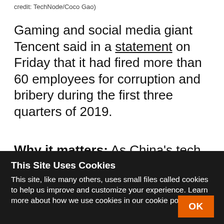credit: TechNode/Coco Gao)
Gaming and social media giant Tencent said in a statement on Friday that it had fired more than 60 employees for corruption and bribery during the first three quarters of 2019.
Why it matters: As China’s tech sector slows down amid a capital winter, companies within it have been heightening their anti-corruption measures to
This Site Uses Cookies
This site, like many others, uses small files called cookies to help us improve and customize your experience. Learn more about how we use cookies in our cookie policy.
OK